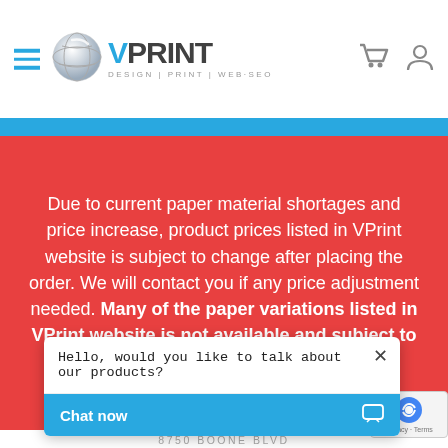[Figure (logo): VPrint logo with globe icon, hamburger menu, shopping cart and user icons in header]
Due to current paper material shortages and price increase, product prices listed in VPrint website is subject to change after placing the order. We will contact you if any price adjustment needed. Many of the paper variations listed in VPrint website is not available and subject to availability in the market.
8750 BOONE BLVD
SUITE# 220
TYSONS, VA 22182 DIRECTIONS
571.308.9311
INFO@VPRINTINC.COM
Connect with us
Hello, would you like to talk about our products?
Chat now